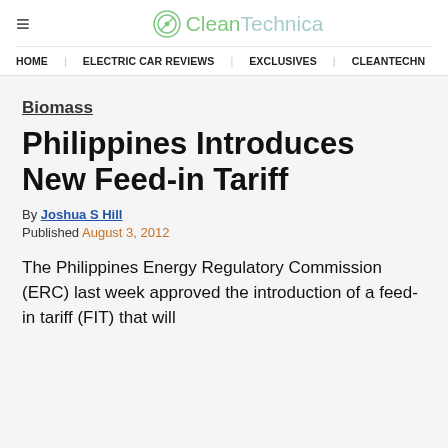CleanTechnica
HOME | ELECTRIC CAR REVIEWS | EXCLUSIVES | CLEANTECHN
Biomass
Philippines Introduces New Feed-in Tariff
By Joshua S Hill
Published August 3, 2012
The Philippines Energy Regulatory Commission (ERC) last week approved the introduction of a feed-in tariff (FIT) that will